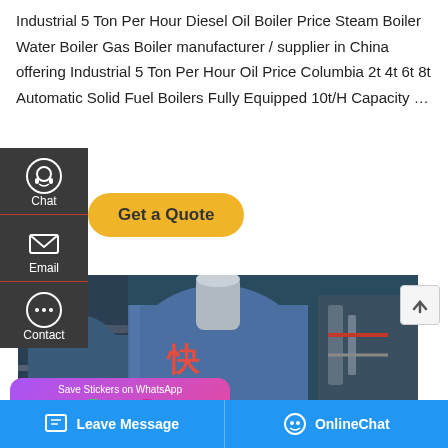Industrial 5 Ton Per Hour Diesel Oil Boiler Price Steam Boiler Water Boiler Gas Boiler manufacturer / supplier in China offering Industrial 5 Ton Per Hour Oil Price Columbia 2t 4t 6t 8t Automatic Solid Fuel Boilers Fully Equipped 10t/H Capacity …
[Figure (screenshot): Navigation sidebar with Chat, Email, and Contact icons on dark background, plus a Get a Quote yellow button]
[Figure (photo): Industrial boiler equipment photo showing large blue cylindrical boiler with silver chimney/stack and associated piping and machinery]
[Figure (screenshot): WhatsApp sticker saver popup with purple-pink gradient background showing phone and smiley icons]
[Figure (screenshot): Bottom navigation bar with Leave Message and OnlineChat buttons on blue background]